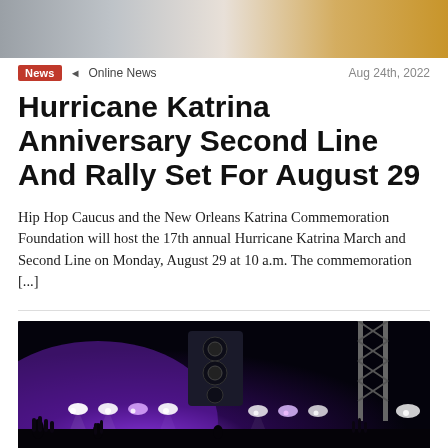[Figure (photo): Top photo showing people outdoors, partially cropped at the top of the page]
News ◄ Online News   Aug 24th, 2022
Hurricane Katrina Anniversary Second Line And Rally Set For August 29
Hip Hop Caucus and the New Orleans Katrina Commemoration Foundation will host the 17th annual Hurricane Katrina March and Second Line on Monday, August 29 at 10 a.m. The commemoration [...]
[Figure (photo): Concert photo showing crowd with hands raised, purple stage lighting, speaker tower, and stage rigging in the background]